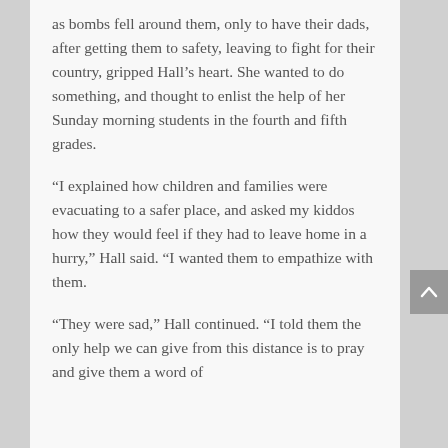as bombs fell around them, only to have their dads, after getting them to safety, leaving to fight for their country, gripped Hall’s heart. She wanted to do something, and thought to enlist the help of her Sunday morning students in the fourth and fifth grades.
“I explained how children and families were evacuating to a safer place, and asked my kiddos how they would feel if they had to leave home in a hurry,” Hall said. “I wanted them to empathize with them.
“They were sad,” Hall continued. “I told them the only help we can give from this distance is to pray and give them a word of